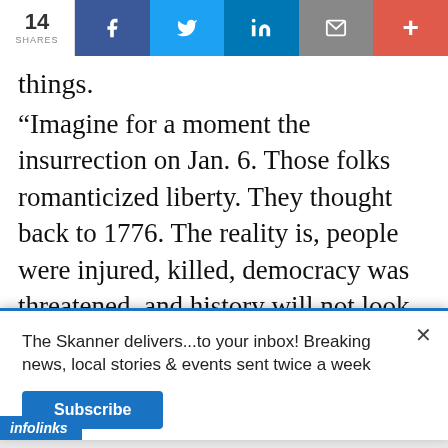14 SHARES | f | Twitter | in | email | +
things.
“Imagine for a moment the insurrection on Jan. 6. Those folks romanticized liberty. They thought back to 1776. The reality is, people were injured, killed, democracy was threatened, and history will not look kindly on them. So there’s a difference between romanticizing the ideal of revolution, but the practicality and reality can be way
The Skanner delivers...to your inbox! Breaking news, local stories & events sent twice a week
Subscribe
[Figure (screenshot): Infolinks advertisement bar with logo and product image strip showing auto parts]
[Figure (screenshot): Advertisement banner: INDEPENDENT POWUR CONSULTANT - PANELES SOLARES + BATERIA - SE BUSCAN VENDEDORES - 310-467-5410 - OBTENG UN BONO INSTALACI... $1,000 CASH]